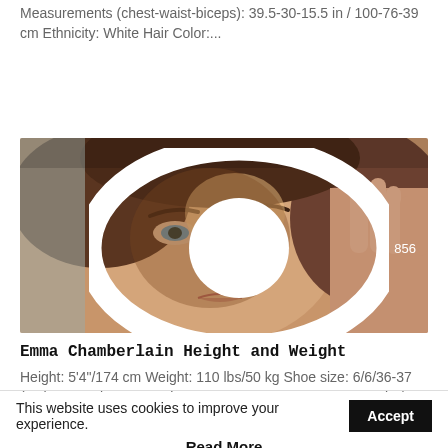Measurements (chest-waist-biceps): 39.5-30-15.5 in / 100-76-39 cm Ethnicity: White Hair Color:...
[Figure (photo): Close-up portrait photo of a young woman with dark hair, eyes looking sideways, hand raised near her face, with dappled light across her features. A view count badge showing an eye icon and 856 is overlaid in the top right corner.]
Emma Chamberlain Height and Weight
Height: 5'4"/174 cm Weight: 110 lbs/50 kg Shoe size: 6/6/36-37 (EU) Dress size: 4 Bra size: 32B Measurements: 34-24-34 in / 86-61-86...
This website uses cookies to improve your experience.
Accept
Read More